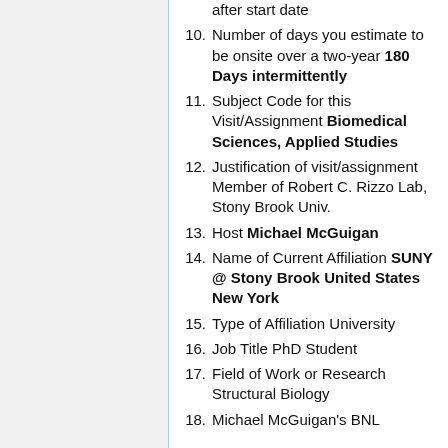after start date
Number of days you estimate to be onsite over a two-year 180 Days intermittently
Subject Code for this Visit/Assignment Biomedical Sciences, Applied Studies
Justification of visit/assignment Member of Robert C. Rizzo Lab, Stony Brook Univ.
Host Michael McGuigan
Name of Current Affiliation SUNY @ Stony Brook United States New York
Type of Affiliation University
Job Title PhD Student
Field of Work or Research Structural Biology
Michael McGuigan's BNL